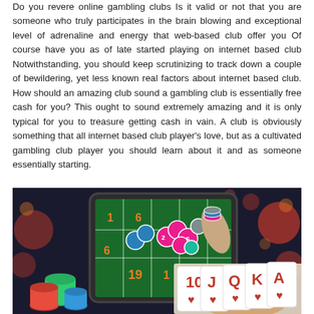Do you revere online gambling clubs Is it valid or not that you are someone who truly participates in the brain blowing and exceptional level of adrenaline and energy that web-based club offer you Of course have you as of late started playing on internet based club Notwithstanding, you should keep scrutinizing to track down a couple of bewildering, yet less known real factors about internet based club. How should an amazing club sound a gambling club is essentially free cash for you? This ought to sound extremely amazing and it is only typical for you to treasure getting cash in vain. A club is obviously something that all internet based club player's love, but as a cultivated gambling club player you should learn about it and as someone essentially starting.
[Figure (photo): Photo of casino gambling scene: a tablet showing a roulette table with colorful poker chips, and a hand holding playing cards (10, J, Q, K, A of hearts) in the foreground, with casino chips stacked on the left and bokeh lights in the background.]